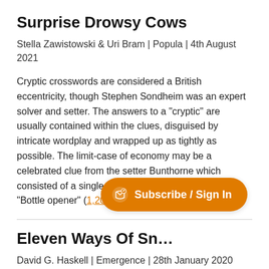Surprise Drowsy Cows
Stella Zawistowski & Uri Bram | Popula | 4th August 2021
Cryptic crosswords are considered a British eccentricity, though Stephen Sondheim was an expert solver and setter. The answers to a "cryptic" are usually contained within the clues, disguised by intricate wordplay and wrapped up as tightly as possible. The limit-case of economy may be a celebrated clue from the setter Bunthorne which consisted of a single letter: "B (6,6)". The answer: "Bottle opener" (1,200 words)
Eleven Ways Of Sn…
David G. Haskell | Emergence | 28th January 2020